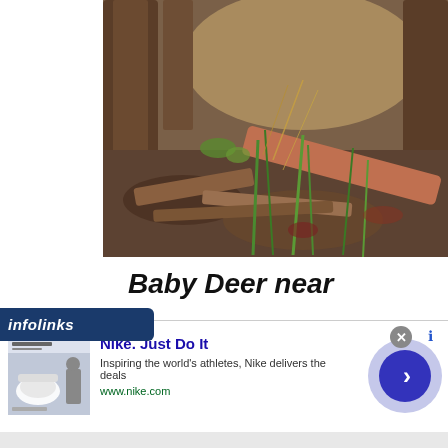[Figure (photo): Forest floor scene with tree trunks, fallen branches, dead leaves, and green grass in sunlight — a nature/wildlife photograph]
Baby Deer near
[Figure (screenshot): Infolinks advertisement banner for Nike. Just Do It — showing Nike Air Force shoe thumbnail, ad title 'Nike. Just Do It', description 'Inspiring the world's athletes, Nike delivers the deals', URL www.nike.com, and a blue arrow button on the right]